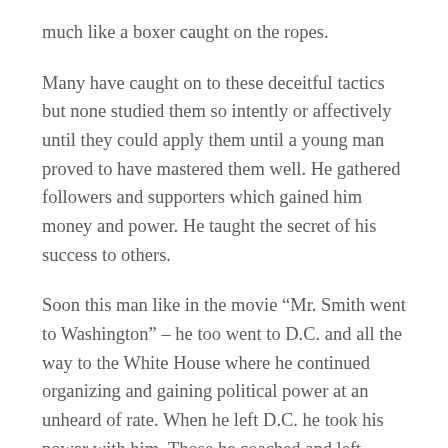much like a boxer caught on the ropes.
Many have caught on to these deceitful tactics but none studied them so intently or affectively until they could apply them until a young man proved to have mastered them well. He gathered followers and supporters which gained him money and power. He taught the secret of his success to others.
Soon this man like in the movie “Mr. Smith went to Washington” – he too went to D.C. and all the way to the White House where he continued organizing and gaining political power at an unheard of rate. When he left D.C. he took his power with him. Those he coached and left behind continued to use the tactics he had honed into a political playbook with 5 main points: